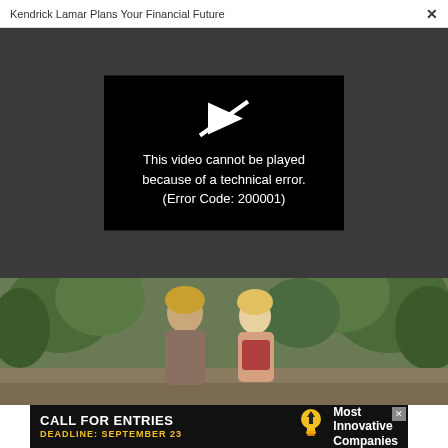Kendrick Lamar Plans Your Financial Future  ×
[Figure (screenshot): Video player showing error: 'This video cannot be played because of a technical error. (Error Code: 200001)' on black background within a dark gray area]
[Figure (photo): Outdoor photo of a man and woman (couple) facing each other among trees, the woman with blonde hair wearing a red plaid shirt, the man with longer blonde hair]
[Figure (infographic): Advertisement banner: 'CALL FOR ENTRIES DEADLINE: SEPTEMBER 23' with lightbulb icon and 'Most Innovative Companies' text]